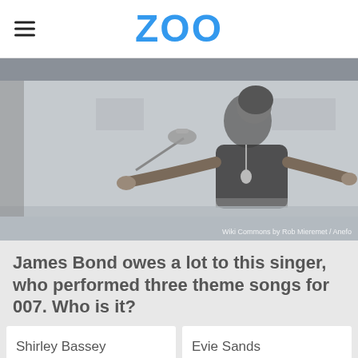ZOO
[Figure (photo): Black and white photo of a female singer performing with outstretched arms near a microphone, wearing a turtleneck and head covering.]
Wiki Commons by Rob Mieremet / Anefo
James Bond owes a lot to this singer, who performed three theme songs for 007. Who is it?
Shirley Bassey
Evie Sands